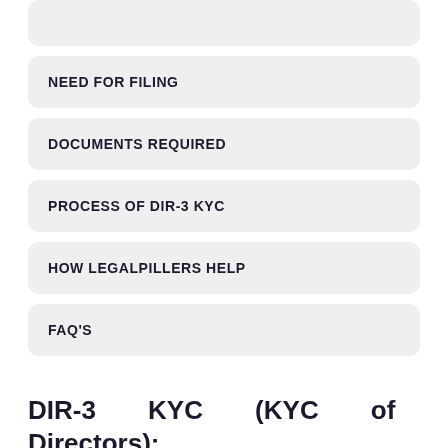NEED FOR FILING
DOCUMENTS REQUIRED
PROCESS OF DIR-3 KYC
HOW LEGALPILLERS HELP
FAQ'S
DIR-3 KYC (KYC of Directors): Introduction